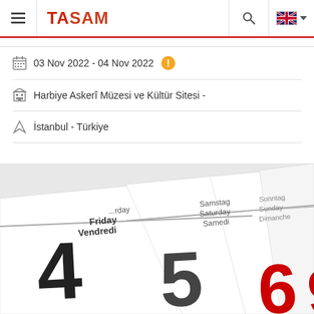TASAM
03 Nov 2022 - 04 Nov 2022
Harbiye Askerî Müzesi ve Kültür Sitesi -
İstanbul - Türkiye
[Figure (photo): Close-up photo of a multilingual calendar showing days Friday/Vendredi/Samstag/Saturday/Samedi and numbers 4, 5, 6 with red numerals on some dates]